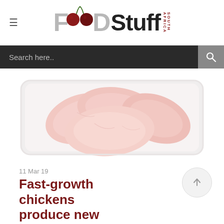FOODStuff SOUTH AFRICA
Search here..
[Figure (photo): Raw chicken breast fillets arranged in a white plastic tray, on white background.]
11 Mar 19
Fast-growth chickens produce new industry woes